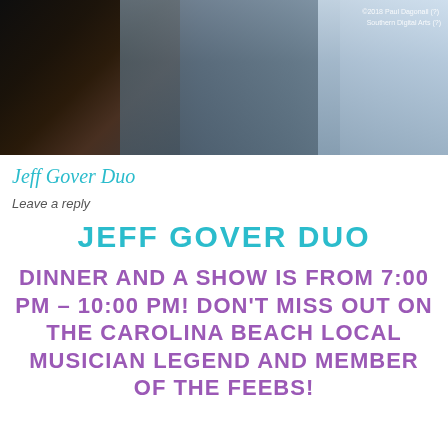[Figure (photo): Photo banner of a musician holding a guitar outdoors with buildings in background. Photo credit: ©2018 Paul Dagonall (or similar) Southern Digital Arts (or similar)]
Jeff Gover Duo
Leave a reply
JEFF GOVER DUO
DINNER AND A SHOW IS FROM 7:00 PM - 10:00 PM!  DON'T MISS OUT ON THE CAROLINA BEACH LOCAL MUSICIAN LEGEND AND MEMBER OF THE FEEBS!